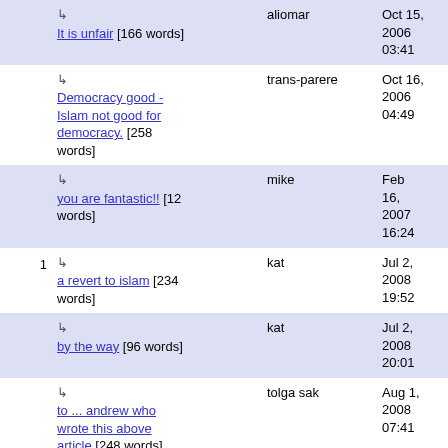|  | Title/Words | Author | Date |
| --- | --- | --- | --- |
|  | ↳ It is unfair [166 words] | aliomar | Oct 15, 2006 03:41 |
|  | ↳ Democracy good - Islam not good for democracy. [258 words] | trans-parere | Oct 16, 2006 04:49 |
|  | ↳ you are fantastic!! [12 words] | mike | Feb 16, 2007 16:24 |
| 1 | ↳ a revert to islam [234 words] | kat | Jul 2, 2008 19:52 |
|  | ↳ by the way [96 words] | kat | Jul 2, 2008 20:01 |
|  | ↳ to ... andrew who wrote this above article [248 words] | tolga sak | Aug 1, 2008 07:41 |
|  | a sample letter [206 words] | Richard Freedman | Oct 10, 2006 12:58 |